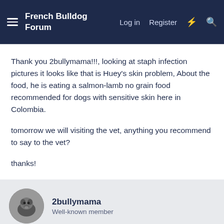French Bulldog Forum   Log in   Register
Thank you 2bullymama!!!, looking at staph infection pictures it looks like that is Huey's skin problem, About the food, he is eating a salmon-lamb no grain food recommended for dogs with sensitive skin here in Colombia.
tomorrow we will visiting the vet, anything you recommend to say to the vet?
thanks!
2bullymama
Well-known member